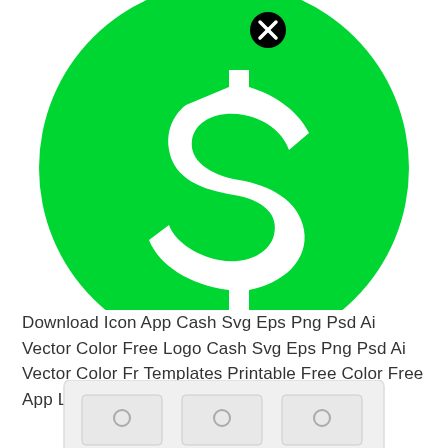[Figure (logo): Green circle with white Cash App dollar sign logo icon, with a black close/X button overlay in the upper right area of the circle]
Download Icon App Cash Svg Eps Png Psd Ai Vector Color Free Logo Cash Svg Eps Png Psd Ai Vector Color Fr Templates Printable Free Color Free App Logo
[Figure (illustration): White dresser/chest of drawers illustration with multiple drawer handles, partially visible at the bottom of the page, with a black close/X button overlay]